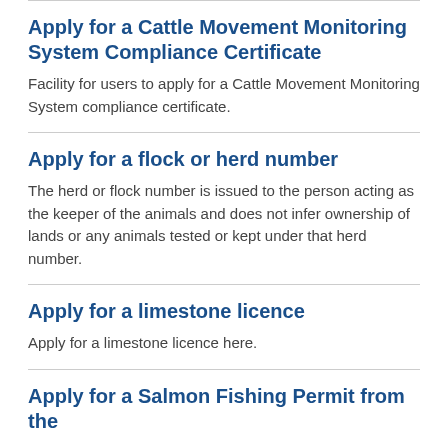Apply for a Cattle Movement Monitoring System Compliance Certificate
Facility for users to apply for a Cattle Movement Monitoring System compliance certificate.
Apply for a flock or herd number
The herd or flock number is issued to the person acting as the keeper of the animals and does not infer ownership of lands or any animals tested or kept under that herd number.
Apply for a limestone licence
Apply for a limestone licence here.
Apply for a Salmon Fishing Permit from the